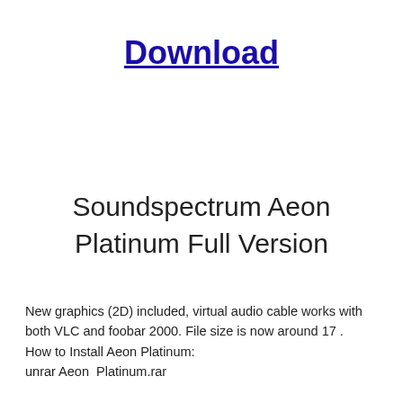Download
Soundspectrum Aeon Platinum Full Version
New graphics (2D) included, virtual audio cable works with both VLC and foobar 2000. File size is now around 17 . How to Install Aeon Platinum: unrar Aeon  Platinum.rar